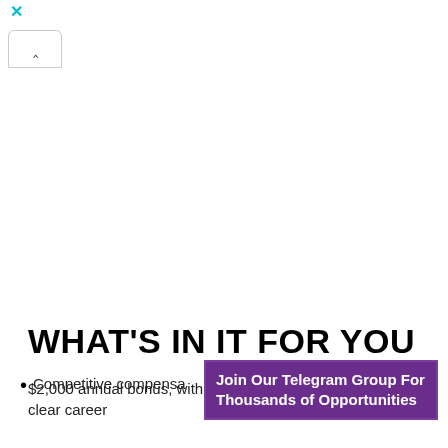[Figure (screenshot): UI chrome with close (X) button in cyan and a collapse/chevron up button in a rounded tab]
WHAT'S IN IT FOR YOU
[Figure (infographic): Purple bordered box with text: Join Our Telegram Group For Thousands of Opportunities]
Competitive compensation
$2,000 annual bonus, with a clear career